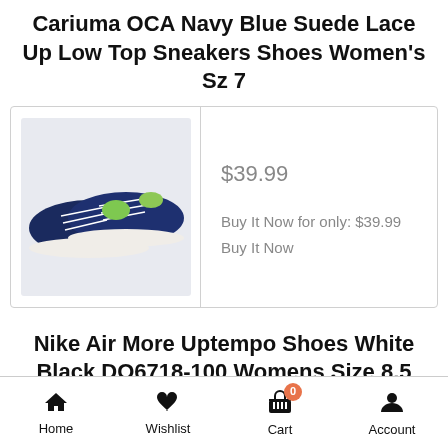Cariuma OCA Navy Blue Suede Lace Up Low Top Sneakers Shoes Women's Sz 7
[Figure (photo): Photo of navy blue suede Cariuma OCA low top sneakers with white soles on a white background]
$39.99

Buy It Now for only: $39.99
Buy It Now
Nike Air More Uptempo Shoes White Black DO6718-100 Womens Size 8.5
Home   Wishlist   Cart 0   Account